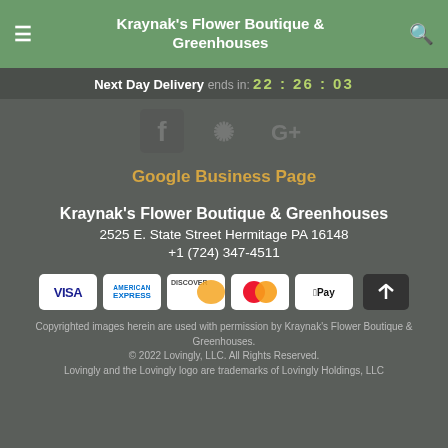Kraynak's Flower Boutique & Greenhouses
Next Day Delivery ends in: 22 : 26 : 03
[Figure (logo): Social media icons: Facebook, Yelp, Google+]
Google Business Page
Kraynak's Flower Boutique & Greenhouses
2525 E. State Street Hermitage PA 16148
+1 (724) 347-4511
[Figure (logo): Payment method logos: Visa, American Express, Discover, Mastercard, Apple Pay, and scroll-to-top button]
Copyrighted images herein are used with permission by Kraynak's Flower Boutique & Greenhouses.
© 2022 Lovingly, LLC. All Rights Reserved.
Lovingly and the Lovingly logo are trademarks of Lovingly Holdings, LLC